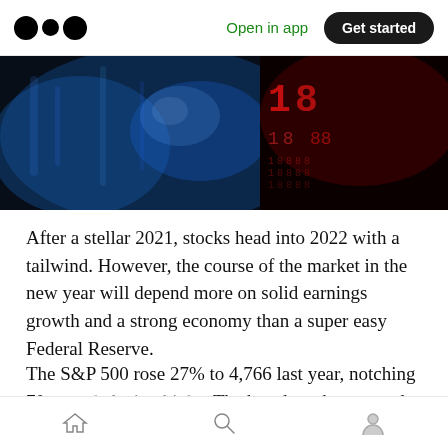Open in app  Get started
[Figure (photo): Stock market ticker display showing colorful LED numbers in blue and red on a dark background]
After a stellar 2021, stocks head into 2022 with a tailwind. However, the course of the market in the new year will depend more on solid earnings growth and a strong economy than a super easy Federal Reserve.
The S&P 500 rose 27% to 4,766 last year, notching 70 record closing highs. The benchmark outpaced the 19% gain in the Dow
Home  Search  Profile